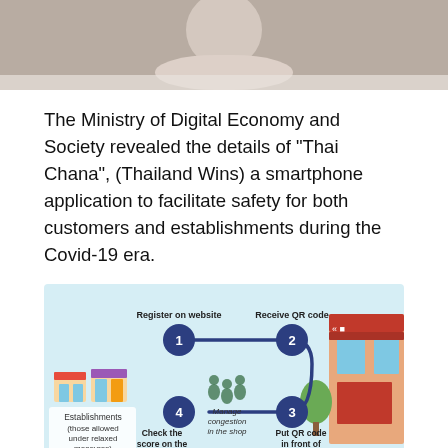[Figure (photo): Top portion of a person wearing a light beige/cream sweater, photographed from approximately chest level up, background is neutral gray]
The Ministry of Digital Economy and Society revealed the details of “Thai Chana”, (Thailand Wins) a smartphone application to facilitate safety for both customers and establishments during the Covid-19 era.
[Figure (infographic): Infographic showing the 4-step process for establishments using the Thai Chana application: 1) Register on website, 2) Receive QR code, 3) Put QR code in front of the shop, 4) Check the score on the website. Also shows 'Manage congestion in the shop' in the center. Steps are connected by a curved navy blue line. Bottom banner reads '"Thai Chana" Application' in yellow and white text on a dark blue background. Left side shows icons of establishments (those allowed under relaxed measures). Right side shows an illustrated shop front.]